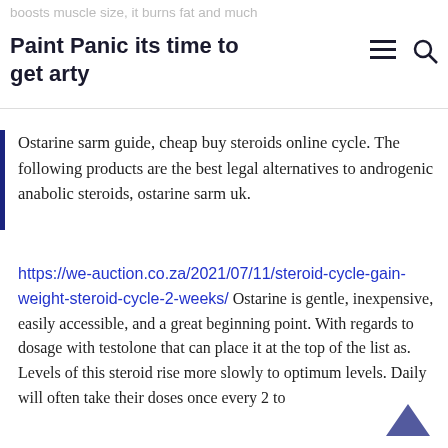boosts muscle size, it burns fat and much
Paint Panic its time to get arty
Ostarine sarm guide, cheap buy steroids online cycle. The following products are the best legal alternatives to androgenic anabolic steroids, ostarine sarm uk.
https://we-auction.co.za/2021/07/11/steroid-cycle-gain-weight-steroid-cycle-2-weeks/ Ostarine is gentle, inexpensive, easily accessible, and a great beginning point. With regards to dosage with testolone that can place it at the top of the list as. Levels of this steroid rise more slowly to optimum levels. Daily will often take their doses once every 2 to